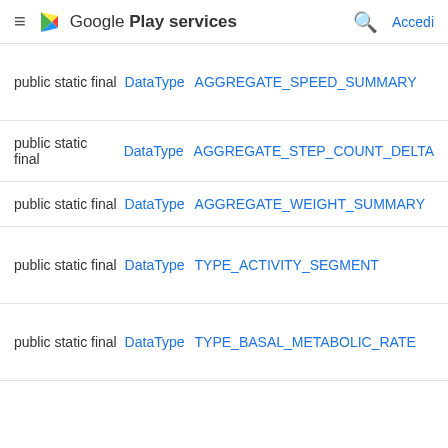Google Play services — Accedi
public static final DataType AGGREGATE_SPEED_SUMMARY
public static final DataType AGGREGATE_STEP_COUNT_DELTA
public static final DataType AGGREGATE_WEIGHT_SUMMARY
public static final DataType TYPE_ACTIVITY_SEGMENT
public static final DataType TYPE_BASAL_METABOLIC_RATE